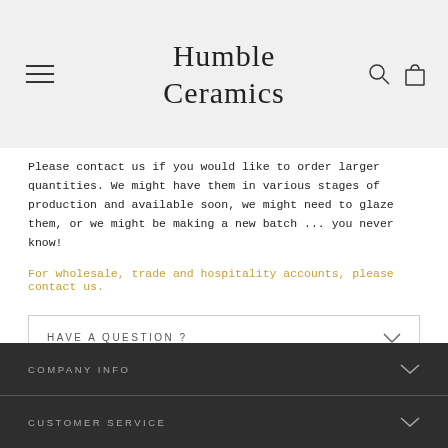Humble Ceramics
Please contact us if you would like to order larger quantities. We might have them in various stages of production and available soon, we might need to glaze them, or we might be making a new batch ... you never know!
For wholesale, trade and hospitality accounts, please contact us.
HAVE A QUESTION ?
Share   Tweet   Pin it
COMPANY INFO
CUSTOMER SERVICE